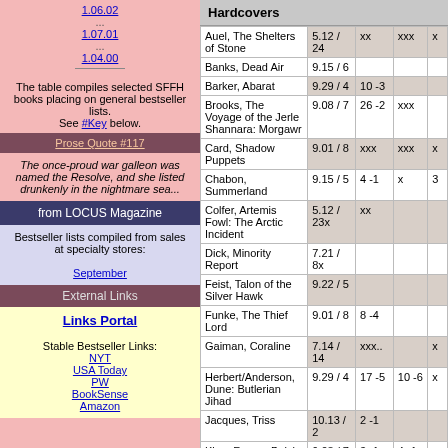1.06.02
1.07.01
1.04.00
The table compiles selected SFFH books placing on general bestseller lists. See #Key below.
Prose Quote #117
The once-proud war galleon was named the Resolve, and she listed drunkenly in the nightmare sea...
from LOCUS Magazine
Bestseller lists compiled from sales at specialty stores:
September
External Links
Links Portal
Stable Bestseller Links: NYT USA Today PW BookSense Amazon
Hardcovers
| Title | Date/Wk | Col1 | Col2 | Col3 |
| --- | --- | --- | --- | --- |
| Auel, The Shelters of Stone | 5.12 / 24 | xx | xxx | x |
| Banks, Dead Air | 9.15 / 6 |  |  |  |
| Barker, Abarat | 9.29 / 4 | 10 -3 |  |  |
| Brooks, The Voyage of the Jerle Shannara: Morgawr | 9.08 / 7 | 26 -2 | xxx |  |
| Card, Shadow Puppets | 9.01 / 8 | xxx | xxx | x |
| Chabon, Summerland | 9.15 / 5 | 4 -1 | x | 3 |
| Colfer, Artemis Fowl: The Arctic Incident | 5.12 / 23x | xx |  |  |
| Dick, Minority Report | 7.21 / 8x |  |  |  |
| Feist, Talon of the Silver Hawk | 9.22 / 5 |  |  |  |
| Funke, The Thief Lord | 9.01 / 8 | 8 -4 |  |  |
| Gaiman, Coraline | 7.14 / 14 | xxx.. |  | x |
| Herbert/Anderson, Dune: Butlerian Jihad | 9.29 / 4 | 17 -5 | 10 -6 | x |
| Jacques, Triss | 10.13 / 2 | 2 -1 |  |  |
| King, From a Buick 8 | 9.08 / 7 | 3 -1 | 4 -1 |  |
| Lackey, Exile's Honor | 10.13 / ... | 31 -4 |  |  |